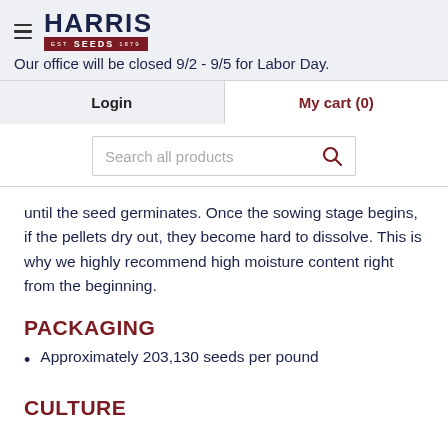Harris Seeds — Our office will be closed 9/2 - 9/5 for Labor Day. Login | My cart (0)
[Figure (screenshot): Search all products input box with magnifying glass icon]
until the seed germinates. Once the sowing stage begins, if the pellets dry out, they become hard to dissolve. This is why we highly recommend high moisture content right from the beginning.
PACKAGING
Approximately 203,130 seeds per pound
CULTURE